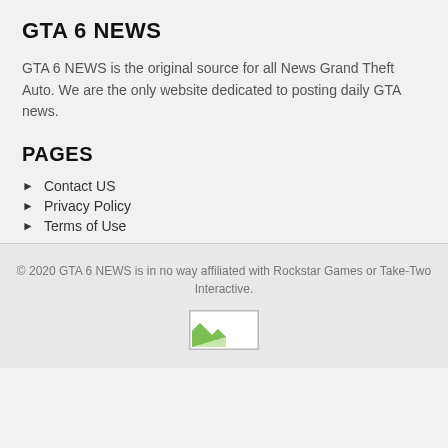GTA 6 NEWS
GTA 6 NEWS is the original source for all News Grand Theft Auto. We are the only website dedicated to posting daily GTA news.
PAGES
Contact US
Privacy Policy
Terms of Use
© 2020 GTA 6 NEWS is in no way affiliated with Rockstar Games or Take-Two Interactive.
[Figure (other): Broken image placeholder with small green leaf icon in bottom-left corner]